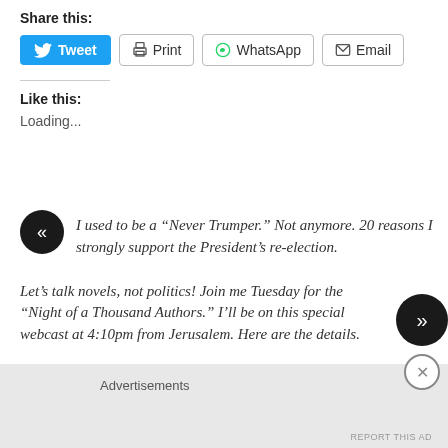Share this:
[Figure (screenshot): Social sharing buttons: Tweet (blue), Print, WhatsApp, Email]
Like this:
Loading...
« I used to be a “Never Trumper.” Not anymore. 20 reasons I strongly support the President’s re-election.
Let’s talk novels, not politics! Join me Tuesday for the “Night of a Thousand Authors.” I’ll be on this special webcast at 4:10pm from Jerusalem. Here are the details. »
Advertisements